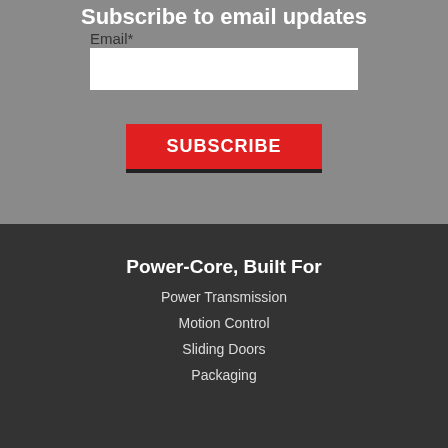Subscribe to email updates
Email*
Power-Core, Built For
Power Transmission
Motion Control
Sliding Doors
Packaging